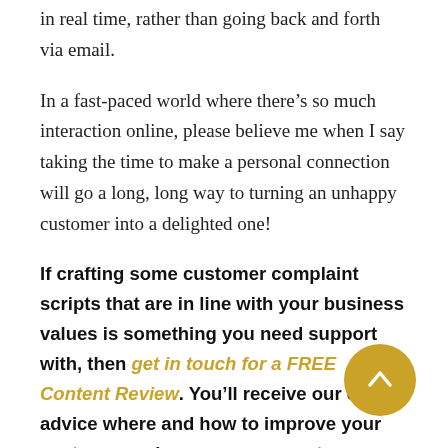in real time, rather than going back and forth via email.
In a fast-paced world where there's so much interaction online, please believe me when I say taking the time to make a personal connection will go a long, long way to turning an unhappy customer into a delighted one!
If crafting some customer complaint scripts that are in line with your business values is something you need support with, then get in touch for a FREE Content Review. You'll receive our expert advice where and how to improve your customer experience, so your customers feel valued
[Figure (other): Gold circular scroll-to-top button with upward chevron arrow]